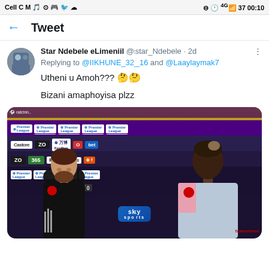Cell C  M  [icons]  00:10
Tweet
Star Ndebele eLimeniil @star_Ndebele · 2d
Replying to @IIKHUNE_32_16 and @Laaylaymak7
Utheni u Amoh??? 🤔🤔
Bizani amaphoyisa plzz
[Figure (photo): Two Manchester United football players in post-match interview. Left player wearing black goalkeeper kit, right player wearing light blue kit, standing in front of Premier League sponsor boards including Premier League, 万博, Bitci, bet365 logos. Sky Sports microphone visible.]